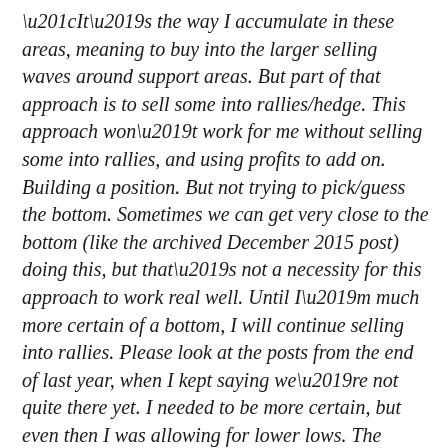“It’s the way I accumulate in these areas, meaning to buy into the larger selling waves around support areas. But part of that approach is to sell some into rallies/hedge. This approach won’t work for me without selling some into rallies, and using profits to add on. Building a position. But not trying to pick/guess the bottom. Sometimes we can get very close to the bottom (like the archived December 2015 post) doing this, but that’s not a necessity for this approach to work real well. Until I’m much more certain of a bottom, I will continue selling into rallies. Please look at the posts from the end of last year, when I kept saying we’re not quite there yet. I needed to be more certain, but even then I was allowing for lower lows. The strong hands never attempt